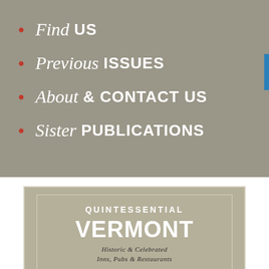Find US
Previous ISSUES
About & CONTACT US
Sister PUBLICATIONS
[Figure (illustration): Book cover advertisement for 'Quintessential Vermont: Historic & Celebrated Inns, Pubs & Restaurants' on a tan/khaki background with a thin border.]